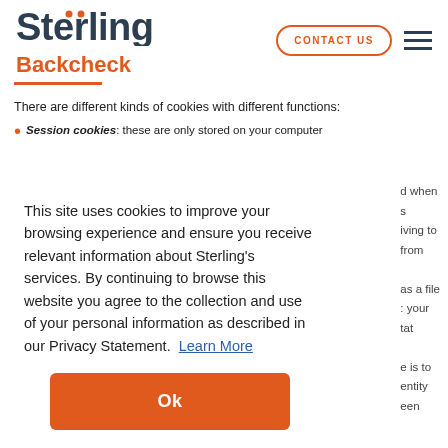[Figure (logo): Sterling Backcheck logo — 'Sterling' in dark navy bold with orange dot accents, 'Backcheck' in orange bold below]
CONTACT US
There are different kinds of cookies with different functions:
Session cookies: these are only stored on your computer
This site uses cookies to improve your browsing experience and ensure you receive relevant information about Sterling's services. By continuing to browse this website you agree to the collection and use of your personal information as described in our Privacy Statement. Learn More
Ok
Sterling's servers and your computer's hard drive. They are not